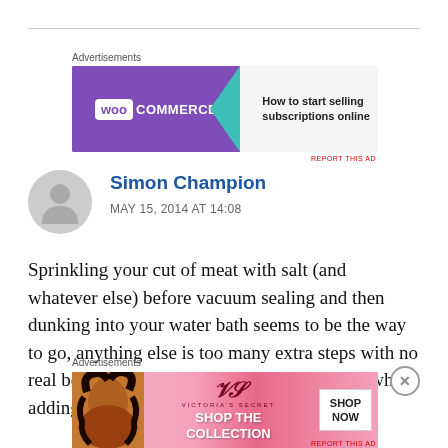[Figure (screenshot): WooCommerce advertisement banner: purple left side with WooCommerce logo, teal arrow, white right side with text 'How to start selling subscriptions online' and colorful shapes]
Simon Champion
MAY 15, 2014 AT 14:08
Sprinkling your cut of meat with salt (and whatever else) before vacuum sealing and then dunking into your water bath seems to be the way to go, anything else is too many extra steps with no real benefit. Many people say care is needed when adding spices
[Figure (screenshot): Victoria's Secret advertisement banner with model photo on left, VS logo, text 'SHOP THE COLLECTION', and white 'SHOP NOW' button on right]